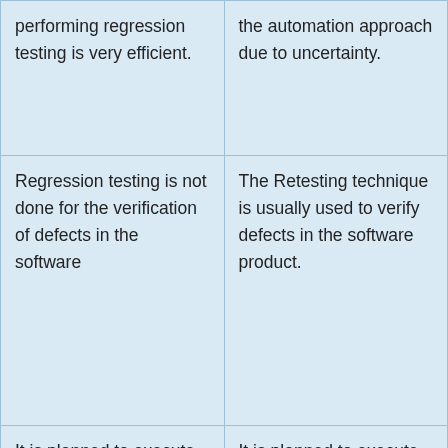| performing regression testing is very efficient. | the automation approach due to uncertainty. |
| Regression testing is not done for the verification of defects in the software | The Retesting technique is usually used to verify defects in the software product. |
| It is planned to execute in some spe… | It is planned to execute on specific… |